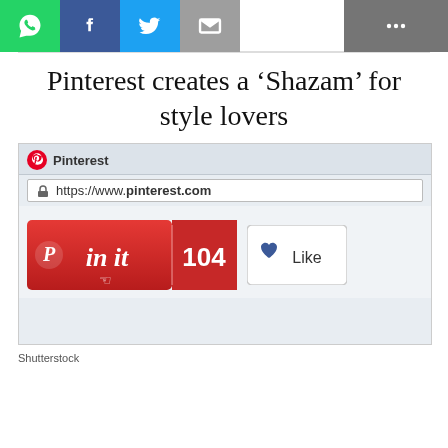[Figure (screenshot): Social media share bar with WhatsApp (green), Facebook (blue), Twitter (light blue), Email (grey) buttons on left, and a share icon button on the right grey area]
Pinterest creates a ‘Shazam’ for style lovers
[Figure (screenshot): Screenshot of Pinterest website showing the Pinterest logo and name, https://www.pinterest.com URL in address bar, a red Pin it button with count 104, and a Like button with heart icon]
Shutterstock